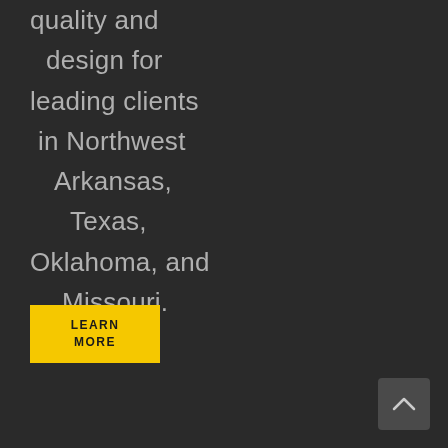quality and design for leading clients in Northwest Arkansas, Texas, Oklahoma, and Missouri.
LEARN MORE
[Figure (other): Scroll-to-top button with upward chevron arrow on dark rounded square background]